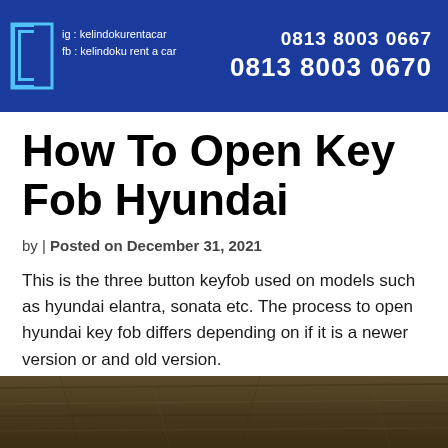ig : kelindokurentacar  fb : kelindoku rent a car  0813 8003 0667  0813 8003 0670
How To Open Key Fob Hyundai
by | Posted on December 31, 2021
This is the three button keyfob used on models such as hyundai elantra, sonata etc. The process to open hyundai key fob differs depending on if it is a newer version or and old version.
[Figure (photo): Dark brownish textured surface, likely a wooden or leather surface close-up photo]